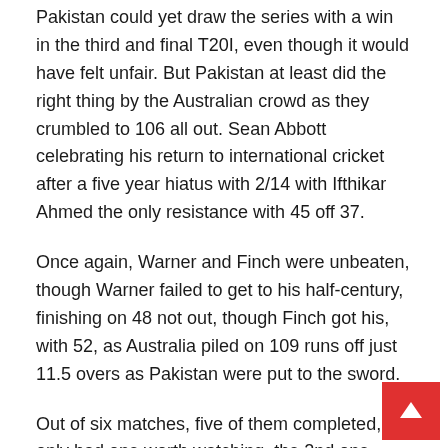Pakistan could yet draw the series with a win in the third and final T20I, even though it would have felt unfair. But Pakistan at least did the right thing by the Australian crowd as they crumbled to 106 all out. Sean Abbott celebrating his return to international cricket after a five year hiatus with 2/14 with Ifthikar Ahmed the only resistance with 45 off 37.
Once again, Warner and Finch were unbeaten, though Warner failed to get to his half-century, finishing on 48 not out, though Finch got his, with 52, as Australia piled on 109 runs off just 11.5 overs as Pakistan were put to the sword.
Out of six matches, five of them completed, we only had one worth watching, the 2nd one, where Steve Smith rescued Australia, and even that one wasn't that close. Perhaps the third match against Sri Lanka